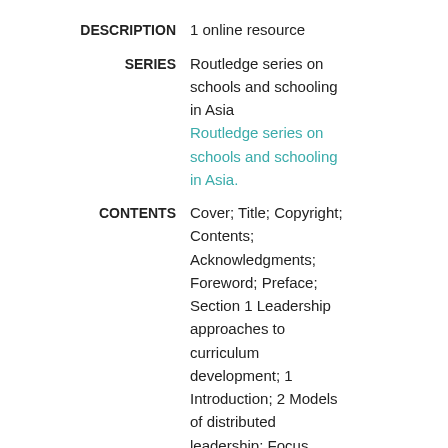DESCRIPTION: 1 online resource
SERIES: Routledge series on schools and schooling in Asia
Routledge series on schools and schooling in Asia.
CONTENTS: Cover; Title; Copyright; Contents; Acknowledgments; Foreword; Preface; Section 1 Leadership approaches to curriculum development; 1 Introduction; 2 Models of distributed leadership: Focus, development, and future; 3 Initiating,